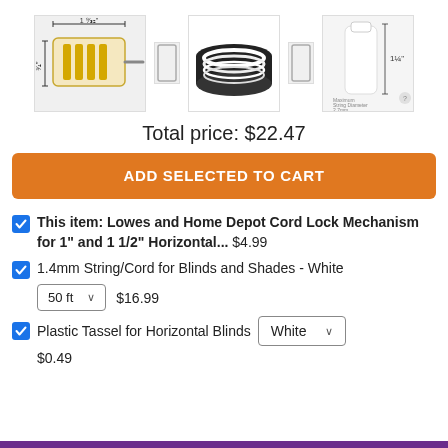[Figure (photo): Three product images: a cord lock mechanism with dimensional annotations (1 9/32" width, 3/4" height), a spool of white cord/string on black reel, and a white plastic tassel with dimensional annotations (1 1/4" height).]
Total price: $22.47
ADD SELECTED TO CART
This item: Lowes and Home Depot Cord Lock Mechanism for 1" and 1 1/2" Horizontal... $4.99
1.4mm String/Cord for Blinds and Shades - White
50 ft  $16.99
Plastic Tassel for Horizontal Blinds  White  $0.49